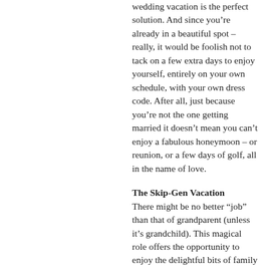wedding vacation is the perfect solution. And since you’re already in a beautiful spot – really, it would be foolish not to tack on a few extra days to enjoy yourself, entirely on your own schedule, with your own dress code. After all, just because you’re not the one getting married it doesn’t mean you can’t enjoy a fabulous honeymoon – or reunion, or a few days of golf, all in the name of love.
The Skip-Gen Vacation
There might be no better “job” than that of grandparent (unless it’s grandchild). This magical role offers the opportunity to enjoy the delightful bits of family ties while largely avoiding the button-pushing too often perpetrated by one’s children or siblings, who also rarely appreciate one’s wisdom